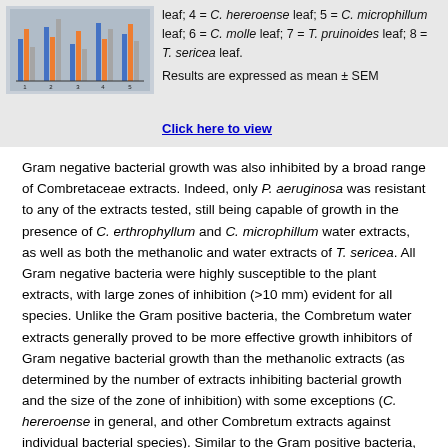[Figure (grouped-bar-chart): Grouped bar chart showing antibacterial activity of Combretaceae extracts against various bacteria]
leaf; 4 = C. hereroense leaf; 5 = C. microphillum leaf; 6 = C. molle leaf; 7 = T. pruinoides leaf; 8 = T. sericea leaf. Results are expressed as mean ± SEM
Gram negative bacterial growth was also inhibited by a broad range of Combretaceae extracts. Indeed, only P. aeruginosa was resistant to any of the extracts tested, still being capable of growth in the presence of C. erthrophyllum and C. microphillum water extracts, as well as both the methanolic and water extracts of T. sericea. All Gram negative bacteria were highly susceptible to the plant extracts, with large zones of inhibition (>10 mm) evident for all species. Unlike the Gram positive bacteria, the Combretum water extracts generally proved to be more effective growth inhibitors of Gram negative bacterial growth than the methanolic extracts (as determined by the number of extracts inhibiting bacterial growth and the size of the zone of inhibition) with some exceptions (C. hereroense in general, and other Combretum extracts against individual bacterial species). Similar to the Gram positive bacteria, the aqueous Terminalia extracts again displayed greater antibacterial efficacy against the Gram negative bacteria